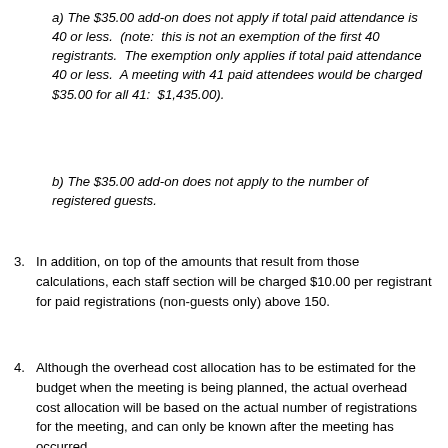a) The $35.00 add-on does not apply if total paid attendance is 40 or less. (note: this is not an exemption of the first 40 registrants. The exemption only applies if total paid attendance 40 or less. A meeting with 41 paid attendees would be charged $35.00 for all 41: $1,435.00).
b) The $35.00 add-on does not apply to the number of registered guests.
3. In addition, on top of the amounts that result from those calculations, each staff section will be charged $10.00 per registrant for paid registrations (non-guests only) above 150.
4. Although the overhead cost allocation has to be estimated for the budget when the meeting is being planned, the actual overhead cost allocation will be based on the actual number of registrations for the meeting, and can only be known after the meeting has occurred.